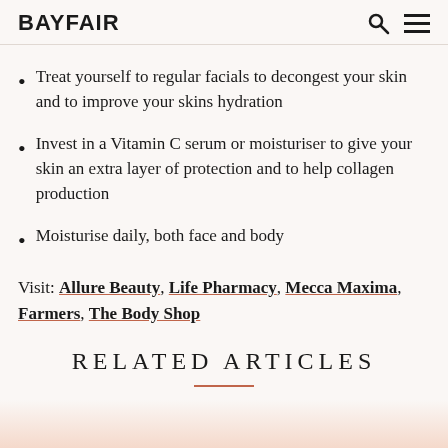BAYFAIR
Treat yourself to regular facials to decongest your skin and to improve your skins hydration
Invest in a Vitamin C serum or moisturiser to give your skin an extra layer of protection and to help collagen production
Moisturise daily, both face and body
Visit: Allure Beauty, Life Pharmacy, Mecca Maxima, Farmers, The Body Shop
RELATED ARTICLES